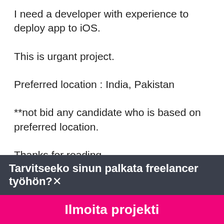I need a developer with experience to deploy app to iOS.
This is urgant project.
Preferred location : India, Pakistan
**not bid any candidate who is based on preferred location.
Thanks for reading.
Taidot: iPhone, Mobile App Development, iPad, React Native
Tarvitseeko sinun palkata freelancer työhön?
Ilmoita projekti